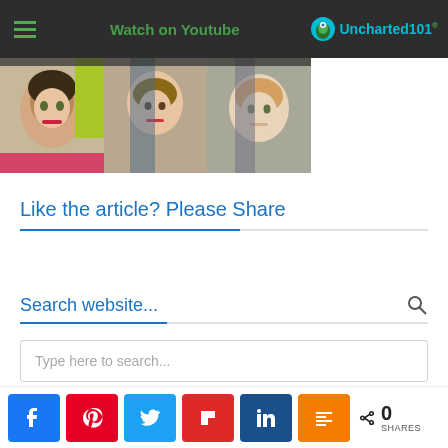Watch on Youtube | Uncharted101
[Figure (photo): Three women smiling, group photo in a colorful indoor setting]
Like the article? Please Share
Search website...
Type here to search...
[Figure (infographic): Social share bar with Facebook, Pinterest, Twitter, Flipboard, LinkedIn, Mix buttons and 0 SHARES count]